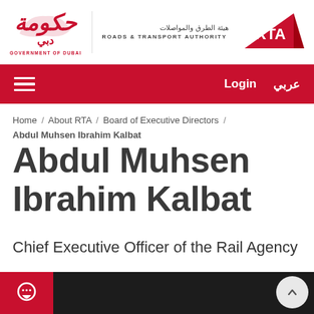[Figure (logo): Government of Dubai logo with Arabic calligraphy emblem in red, text 'GOVERNMENT OF DUBAI' in red below]
[Figure (logo): RTA Roads & Transport Authority logo — Arabic text 'هيئة الطرق والمواصلات', English text 'ROADS & TRANSPORT AUTHORITY', and red geometric RTA mark with white letters]
Navigation bar with hamburger menu, Login, عربي
Home / About RTA / Board of Executive Directors / Abdul Muhsen Ibrahim Kalbat
Abdul Muhsen Ibrahim Kalbat
Chief Executive Officer of the Rail Agency